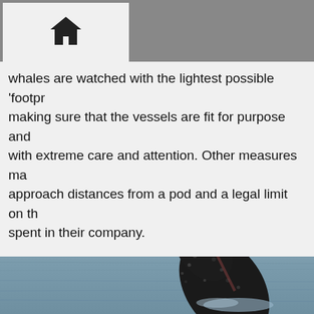Home icon navigation header
whales are watched with the lightest possible 'footpr... making sure that the vessels are fit for purpose and with extreme care and attention. Other measures ma... approach distances from a pod and a legal limit on th... spent in their company.
[Figure (photo): A humpback whale breaching out of the ocean water, showing its dark textured body with white barnacle markings against a grey-blue ocean and sky background.]